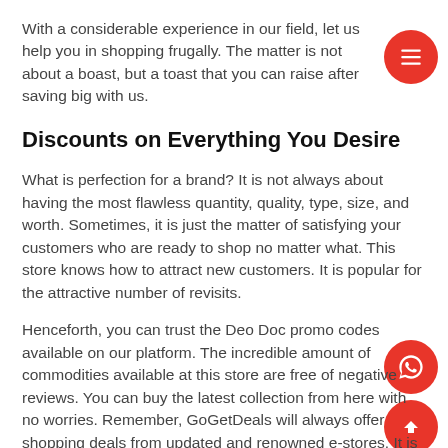With a considerable experience in our field, let us help you in shopping frugally. The matter is not about a boast, but a toast that you can raise after saving big with us.
Discounts on Everything You Desire
What is perfection for a brand? It is not always about having the most flawless quantity, quality, type, size, and worth. Sometimes, it is just the matter of satisfying your customers who are ready to shop no matter what. This store knows how to attract new customers. It is popular for the attractive number of revisits.
Henceforth, you can trust the Deo Doc promo codes available on our platform. The incredible amount of commodities available at this store are free of negative reviews. You can buy the latest collection from here with no worries. Remember, GoGetDeals will always offer shopping deals from updated and renowned e-stores. It is because we believe in satisfying our visitors with the best.
Save Money in a Myriad of Ways